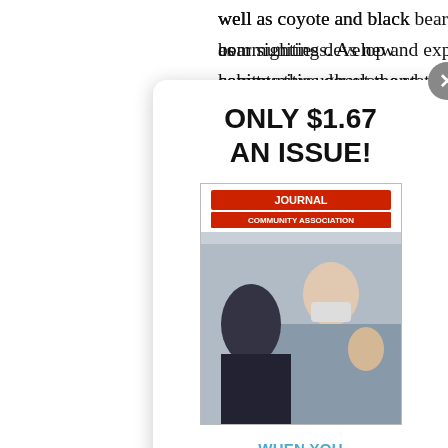well as coyote and black bear sightings. As new communities develop and expand into natural habitats throughout the state, interactions between residents and wildlife increasingly common. Most interactions are not problematic, but dangerous incidents can, as the tragic alligator attack of the child at Disney World comes to mind, or the alligator attack of the University student. In a recent case, a resident brought a wrongful death suit against the mobile home park after her husband was bit by fire ants while walking through the park and died a couple of days later. This leads to the question; can a community be held responsible if someone is injured due to
[Figure (other): Subscription popup overlay showing 'ONLY $1.67 AN ISSUE!' with a magazine cover image, 'WHEN YOU SUBSCRIBE TODAY' text, and a 'SUBSCRIBE' button. Close button (X) in top-right corner.]